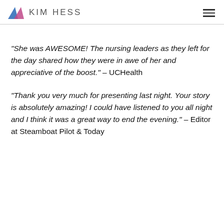KIM HESS
“She was AWESOME! The nursing leaders as they left for the day shared how they were in awe of her and appreciative of the boost.” – UCHealth
“Thank you very much for presenting last night. Your story is absolutely amazing! I could have listened to you all night and I think it was a great way to end the evening.” – Editor at Steamboat Pilot & Today